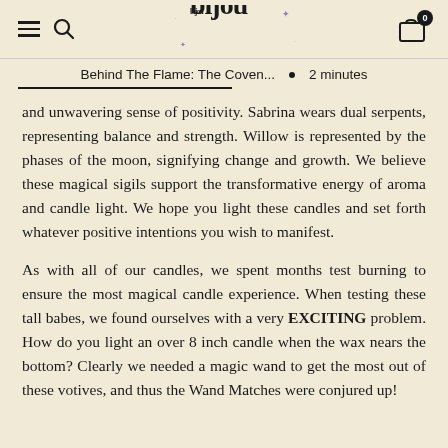bijou
Behind The Flame: The Coven...  •  2 minutes
and unwavering sense of positivity. Sabrina wears dual serpents, representing balance and strength. Willow is represented by the phases of the moon, signifying change and growth. We believe these magical sigils support the transformative energy of aroma and candle light. We hope you light these candles and set forth whatever positive intentions you wish to manifest.
As with all of our candles, we spent months test burning to ensure the most magical candle experience. When testing these tall babes, we found ourselves with a very EXCITING problem. How do you light an over 8 inch candle when the wax nears the bottom? Clearly we needed a magic wand to get the most out of these votives, and thus the Wand Matches were conjured up!